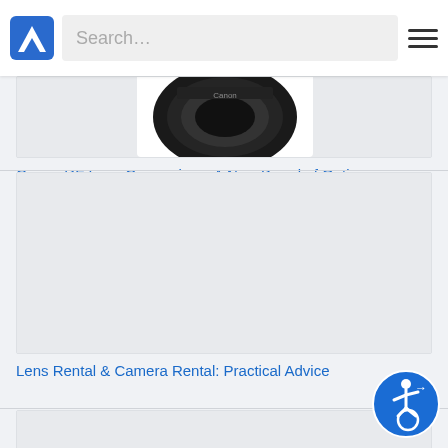Search...
[Figure (photo): Partial view of a Canon RF lens (black camera lens) against white background]
Canon RF Lens Comparison: A New Breed of Optics
[Figure (photo): Light gray placeholder image for Lens Rental & Camera Rental article]
Lens Rental & Camera Rental: Practical Advice
[Figure (photo): Light gray placeholder image for third article card, partially visible]
[Figure (logo): Accessibility icon badge with wheelchair symbol and arrow]